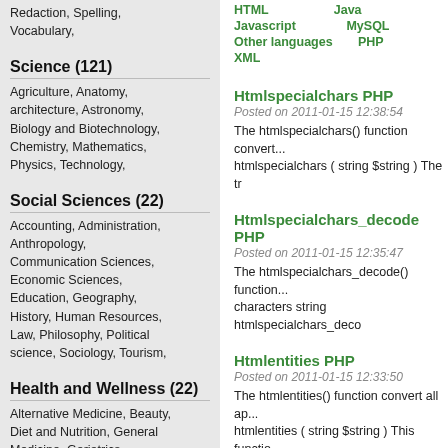Redaction, Spelling, Vocabulary,
Science (121)
Agriculture, Anatomy, architecture, Astronomy, Biology and Biotechnology, Chemistry, Mathematics, Physics, Technology,
Social Sciences (22)
Accounting, Administration, Anthropology, Communication Sciences, Economic Sciences, Education, Geography, History, Human Resources, Law, Philosophy, Political science, Sociology, Tourism,
Health and Wellness (22)
Alternative Medicine, Beauty, Diet and Nutrition, General Medicine, Geriatrics, Massage, Nursing, Other
HTML  Java
Javascript  MySQL
Other languages  PHP
XML
Htmlspecialchars PHP
Posted on 2011-01-15 12:38:54
The htmlspecialchars() function convert... htmlspecialchars ( string $string ) The tr
Htmlspecialchars_decode PHP
Posted on 2011-01-15 12:35:47
The htmlspecialchars_decode() function... characters string htmlspecialchars_deco
Htmlentities PHP
Posted on 2011-01-15 12:33:50
The htmlentities() function convert all ap... htmlentities ( string $string ) This functio
Html_entity_decode PHP
Posted on 2011-01-15 12:30:04
The html_entity_decode() function conve... characters. The html_entity_decode() fu